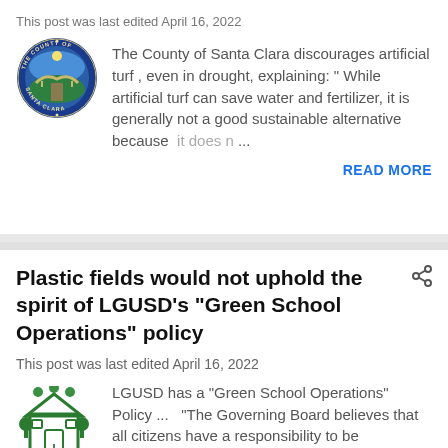This post was last edited April 16, 2022
[Figure (logo): County of Santa Clara official seal — circular blue border with gold text reading THE COUNTY OF SANTA CLARA, depicting an arch bridge and green hills]
The County of Santa Clara discourages artificial turf , even in drought, explaining: " While artificial turf can save water and fertilizer,  it is generally not a good sustainable alternative because  it does n ...
READ MORE
Plastic fields would not uphold the spirit of LGUSD's "Green School Operations" policy
This post was last edited April 16, 2022
[Figure (logo): Green School logo — green illustration of a school building with trees and an open book at the base, text partially visible reading Green Schoo...]
LGUSD has a "Green School Operations" Policy ...   "The Governing Board believes that all citizens have a responsibility to be